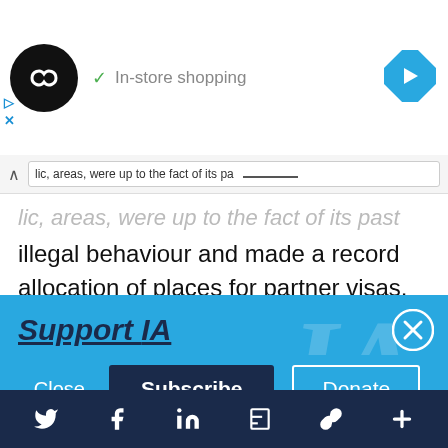[Figure (screenshot): Ad banner with black circular logo with infinity-like symbol, checkmark and 'In-store shopping' text, blue diamond navigation icon top right, small play and close icons bottom left]
…lie, areas, were up to the fact of its past illegal behaviour and made a record allocation of places for partner visas. Clearing the backlog will take another three to four years.
Support IA
Subscribe to IA and investigate Australia today.
Close  Subscribe  Donate
[Figure (infographic): Social media footer bar with Twitter, Facebook, LinkedIn, Flipboard, link/chain, and plus icons on dark navy background]